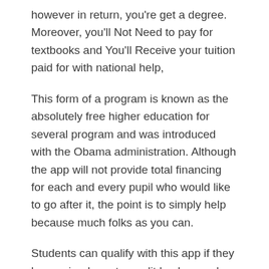however in return, you're get a degree. Moreover, you'll Not Need to pay for textbooks and You'll Receive your tuition paid for with national help,
This form of a program is known as the absolutely free higher education for several program and was introduced with the Obama administration. Although the app will not provide total financing for each and every pupil who would like to go after it, the point is to simply help because much folks as you can.
Students can qualify with this app if they have a inadequate credit background, or a felony conviction, or are currently enrolled in college and have missed atleast a session as a result of financial factors. This program isn't nearly people who are in bad shape, it's about anyone trying to receive yourself a degree but includes